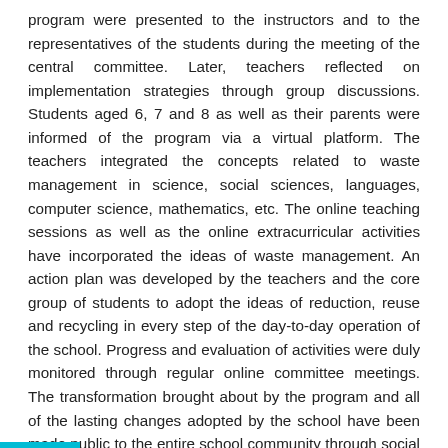program were presented to the instructors and to the representatives of the students during the meeting of the central committee. Later, teachers reflected on implementation strategies through group discussions. Students aged 6, 7 and 8 as well as their parents were informed of the program via a virtual platform. The teachers integrated the concepts related to waste management in science, social sciences, languages, computer science, mathematics, etc. The online teaching sessions as well as the online extracurricular activities have incorporated the ideas of waste management. An action plan was developed by the teachers and the core group of students to adopt the ideas of reduction, reuse and recycling in every step of the day-to-day operation of the school. Progress and evaluation of activities were duly monitored through regular online committee meetings. The transformation brought about by the program and all of the lasting changes adopted by the school have been made public to the entire school community through social media platforms and bulletin boards. At its final stage, students and teachers were invited to formulate various charter statements reflecting their vision and willingness to support the noble mission of this program to bring about attitude changes in the mindsets of all